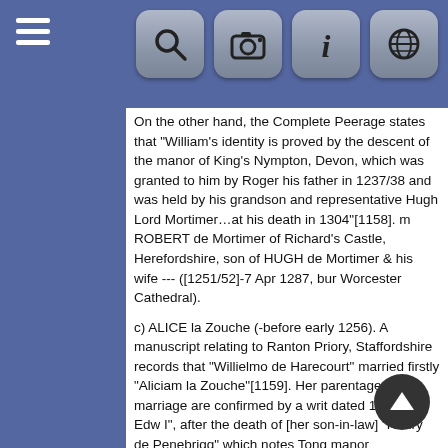[Figure (screenshot): Mobile app top navigation bar with hamburger menu icon on the left and four icon buttons (search, camera, info, globe) on the right on a blue background]
On the other hand, the Complete Peerage states that "William's identity is proved by the descent of the manor of King's Nympton, Devon, which was granted to him by Roger his father in 1237/38 and was held by his grandson and representative Hugh Lord Mortimer…at his death in 1304"[1158]. m ROBERT de Mortimer of Richard's Castle, Herefordshire, son of HUGH de Mortimer & his wife --- ([1251/52]-7 Apr 1287, bur Worcester Cathedral).
c) ALICE la Zouche (-before early 1256). A manuscript relating to Ranton Priory, Staffordshire records that "Willielmo de Harecourt" married firstly "Aliciam la Zouche"[1159]. Her parentage and marriage are confirmed by a writ dated 18 Feb "7 Edw I", after the death of [her son-in-law] "Henry de Penebrigg" which notes Tong manor (Shropshire) "held by Alan la Souche of the honour of Brecheynoc without service because it was of free marriage, and he gave it to William de Harcourt with Alice his sister in free marriage..."[1160]. m as his first wife, WILLIAM [II] de Harcourt, son of RICHARD [I] de Harcourt & his wife Orabilis de Quincy (-[1270/19 Apr 1271]).
d) LORA la Zouche (-after 18 Feb 1279). Her parentage and marriage are confirmed by a writ